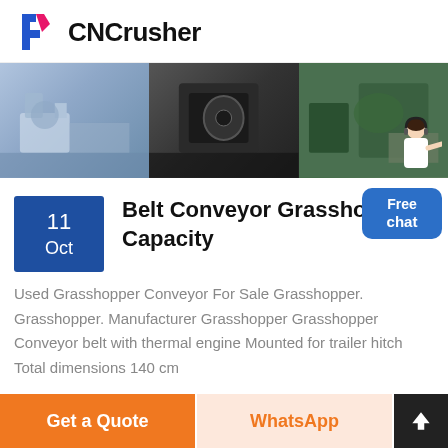[Figure (logo): CNCrusher logo with stylized F icon in blue and pink, followed by bold text 'CNCrusher']
[Figure (photo): Banner photo collage of industrial crushing and conveyor machinery in a factory setting, three panels showing different equipment]
Belt Conveyor Grasshopper Capacity
Used Grasshopper Conveyor For Sale Grasshopper. Grasshopper. Manufacturer Grasshopper Grasshopper Conveyor belt with thermal engine Mounted for trailer hitch Total dimensions 140 cm
[Figure (illustration): Customer service representative figure, woman in white with headset]
Free chat
Get a Quote
WhatsApp